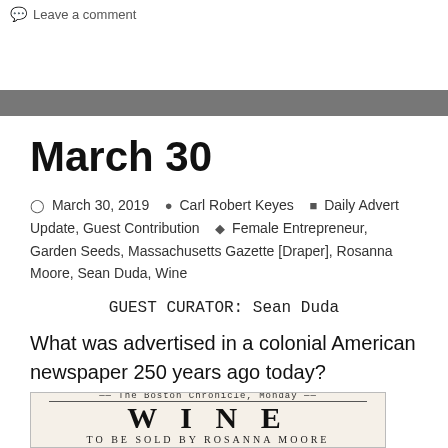Leave a comment
March 30
March 30, 2019  Carl Robert Keyes  Daily Advert Update, Guest Contribution  Female Entrepreneur, Garden Seeds, Massachusetts Gazette [Draper], Rosanna Moore, Sean Duda, Wine
GUEST CURATOR: Sean Duda
What was advertised in a colonial American newspaper 250 years ago today?
[Figure (photo): Cropped image of an old colonial newspaper advertisement featuring large bold letters spelling WINE and the beginning of text reading ROSANNA MOORE below.]